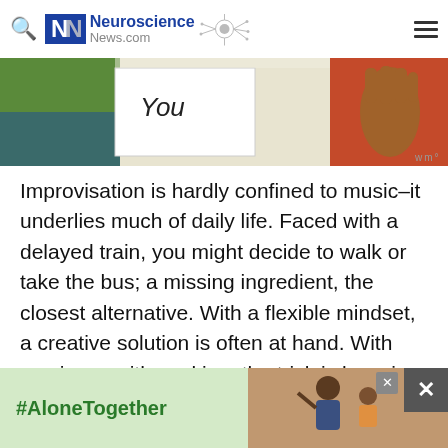Neuroscience News.com
[Figure (photo): Partial image of a person holding a sign that reads 'You', with a hand visible on the right side against a red background. Watermark 'wm°' visible.]
Improvisation is hardly confined to music–it underlies much of daily life. Faced with a delayed train, you might decide to walk or take the bus; a missing ingredient, the closest alternative. With a flexible mindset, a creative solution is often at hand. With music, as with cooking, the trick is knowing the rules of substitution, says the study's lead author
[Figure (photo): Ad banner with green background showing '#AloneTogether' hashtag in green bold text, alongside a photo of a man and child waving.]